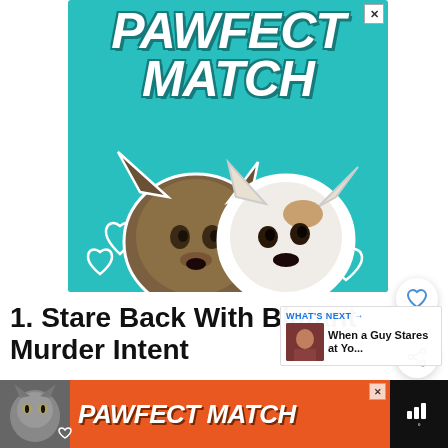[Figure (illustration): Advertisement banner for 'Pawfect Match' showing two dog heads (a brindle dog and a white dog) on a teal background with heart outlines and bold italic white text 'PAWFECT MATCH']
1. Stare Back With Blatant Murder Intent
[Figure (illustration): Inline 'What's Next' thumbnail showing a person, labeled 'When a Guy Stares at Yo...']
[Figure (illustration): Bottom advertisement banner for 'Pawfect Match' on orange/red background with a cat photo on the left and bold italic white text 'PAWFECT MATCH']